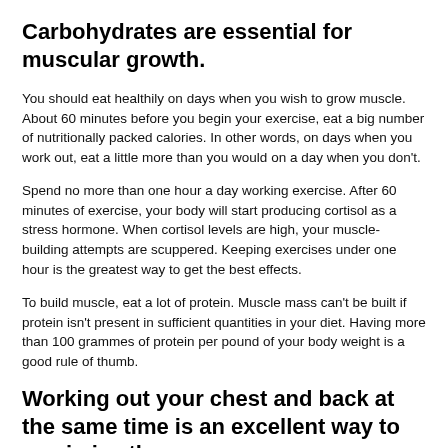Carbohydrates are essential for muscular growth.
You should eat healthily on days when you wish to grow muscle. About 60 minutes before you begin your exercise, eat a big number of nutritionally packed calories. In other words, on days when you work out, eat a little more than you would on a day when you don't.
Spend no more than one hour a day working exercise. After 60 minutes of exercise, your body will start producing cortisol as a stress hormone. When cortisol levels are high, your muscle-building attempts are scuppered. Keeping exercises under one hour is the greatest way to get the best effects.
To build muscle, eat a lot of protein. Muscle mass can't be built if protein isn't present in sufficient quantities in your diet. Having more than 100 grammes of protein per pound of your body weight is a good rule of thumb.
Working out your chest and back at the same time is an excellent way to maximise the